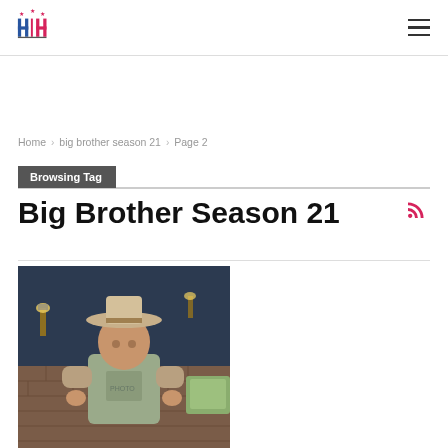HH logo and hamburger menu
Home > big brother season 21 > Page 2
Browsing Tag
Big Brother Season 21
[Figure (photo): A man wearing a cowboy hat and grey t-shirt standing in what appears to be the Big Brother house set with brick walls and colorful decor]